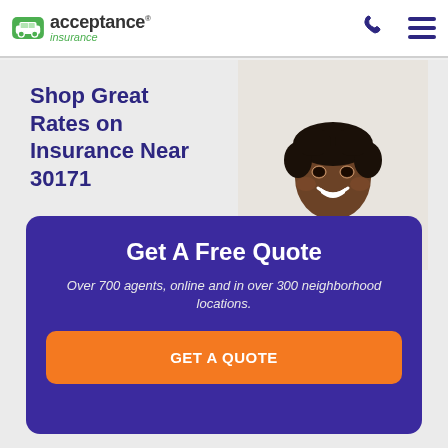acceptance insurance
Shop Great Rates on Insurance Near 30171
[Figure (photo): Smiling woman in a mustard/olive sleeveless top, photographed from the shoulders up, with short curly hair]
Get A Free Quote
Over 700 agents, online and in over 300 neighborhood locations.
GET A QUOTE